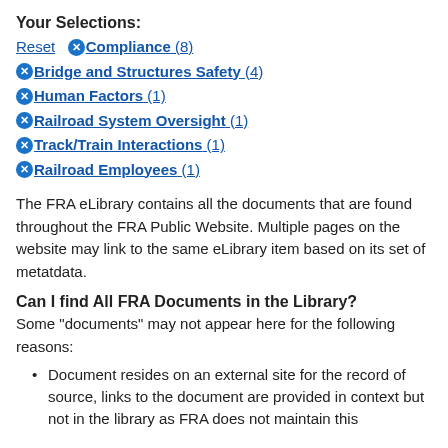Your Selections:
Reset  ✕ Compliance (8)
✕ Bridge and Structures Safety (4)
✕ Human Factors (1)
✕ Railroad System Oversight (1)
✕ Track/Train Interactions (1)
✕ Railroad Employees (1)
The FRA eLibrary contains all the documents that are found throughout the FRA Public Website. Multiple pages on the website may link to the same eLibrary item based on its set of metatdata.
Can I find All FRA Documents in the Library?
Some "documents" may not appear here for the following reasons:
Document resides on an external site for the record of source, links to the document are provided in context but not in the library as FRA does not maintain this